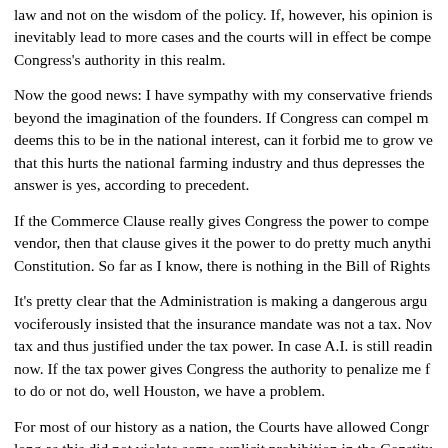law and not on the wisdom of the policy. If, however, his opinion is inevitably lead to more cases and the courts will in effect be compel Congress's authority in this realm.
Now the good news: I have sympathy with my conservative friends beyond the imagination of the founders. If Congress can compel m deems this to be in the national interest, can it forbid me to grow ve that this hurts the national farming industry and thus depresses the answer is yes, according to precedent.
If the Commerce Clause really gives Congress the power to compe vendor, then that clause gives it the power to do pretty much anythi Constitution. So far as I know, there is nothing in the Bill of Rights
It's pretty clear that the Administration is making a dangerous argu vociferously insisted that the insurance mandate was not a tax. Nov tax and thus justified under the tax power. In case A.I. is still readin now. If the tax power gives Congress the authority to penalize me f to do or not do, well Houston, we have a problem.
For most of our history as a nation, the Courts have allowed Congr long as this did not violate some explicit prohibition in the Constitu rarely have the Courts taken seriously the idea of enumerated powe as are mentioned in the charter. In US v. Lopez (1995) the Court ru authorize Congress to regulate the carrying of handguns in the vici
I am skeptical that the Courts are in a position to put real limits on